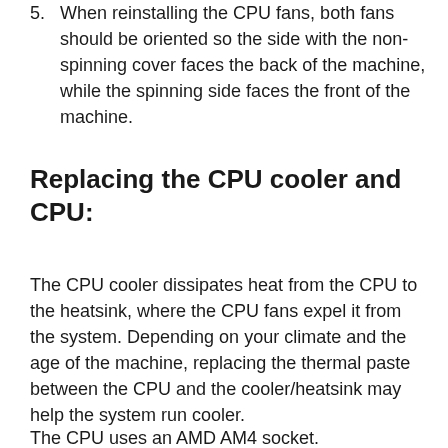5. When reinstalling the CPU fans, both fans should be oriented so the side with the non-spinning cover faces the back of the machine, while the spinning side faces the front of the machine.
Replacing the CPU cooler and CPU:
The CPU cooler dissipates heat from the CPU to the heatsink, where the CPU fans expel it from the system. Depending on your climate and the age of the machine, replacing the thermal paste between the CPU and the cooler/heatsink may help the system run cooler.
The CPU uses an AMD AM4 socket.